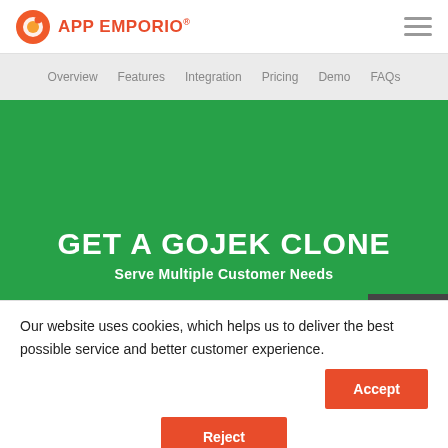[Figure (logo): App Emporio logo with circular orange icon and text APP EMPORIO with registered trademark symbol]
APP EMPORIO® [navigation menu icon]
Overview   Features   Integration   Pricing   Demo   FAQs
GET A GOJEK CLONE
Serve Multiple Customer Needs
Our website uses cookies, which helps us to deliver the best possible service and better customer experience.
Accept
Reject